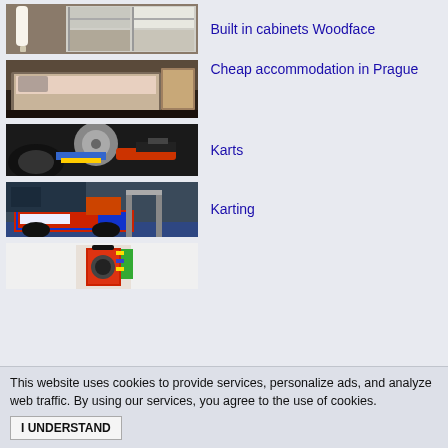[Figure (photo): Built-in wardrobe cabinets with white and dark wood panels, lamp visible]
Built in cabinets Woodface
[Figure (photo): Bedroom with bed and wooden furniture, cheap accommodation style]
Cheap accommodation in Prague
[Figure (photo): Close-up of kart engine with mechanical parts, orange exhaust pipe]
Karts
[Figure (photo): Karting vehicle on display, colorful kart with wheels visible]
Karting
[Figure (photo): Partial image of a product with colorful packaging]
This website uses cookies to provide services, personalize ads, and analyze web traffic. By using our services, you agree to the use of cookies.
I UNDERSTAND